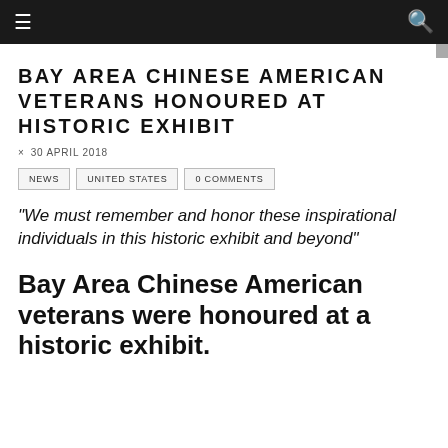☰  🔍
BAY AREA CHINESE AMERICAN VETERANS HONOURED AT HISTORIC EXHIBIT
30 APRIL 2018
NEWS   UNITED STATES   0 COMMENTS
"We must remember and honor these inspirational individuals in this historic exhibit and beyond"
Bay Area Chinese American veterans were honoured at a historic exhibit.